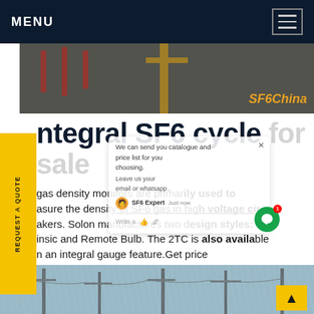MENU
[Figure (photo): Industrial electrical equipment / SF6 infrastructure with SF6China watermark]
ntegral SF6 cycle for sale
gas density monitors are primarily used to measure the density of SF6 gas in high voltage circuit breakers. Solon manufactures two design styles: insic and Remote Bulb. The 2TC is also available in an integral gauge feature.Get price
[Figure (screenshot): Live chat widget overlay with SF6 Expert agent, message input, and notification badge]
[Figure (photo): Outdoor high-voltage power line substation infrastructure]